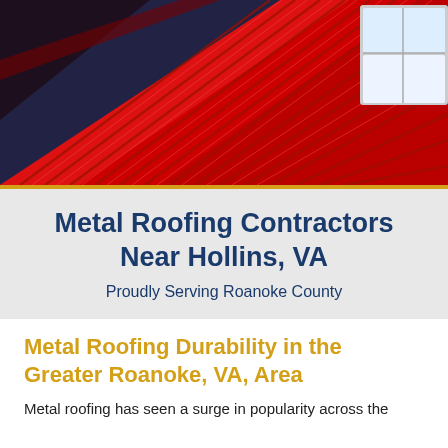[Figure (photo): Close-up photograph of red metal roofing panels with standing seams, angled diagonally. A white dormer window is visible in the upper right corner.]
Metal Roofing Contractors Near Hollins, VA
Proudly Serving Roanoke County
Metal Roofing Durability in the Greater Roanoke, VA, Area
Metal roofing has seen a surge in popularity across the